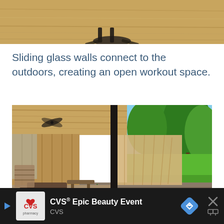[Figure (photo): Close-up of a wooden table surface from above, with a dark metal stand/base visible at the bottom center of the frame. Light wood grain texture across the entire surface.]
Sliding glass walls connect to the outdoors, creating an open workout space.
[Figure (photo): Interior of an open wooden pavilion/gym space with sliding glass walls open to the outdoors. Wood-paneled ceiling and walls, exercise equipment including a rowing machine visible on the left. Right side shows a lush green garden with trees, blue sky, and a pond/water feature along a deck.]
[Figure (photo): Advertisement banner: CVS Epic Beauty Event. CVS logo with red heart and pharmacy text. Blue play arrow, navigation arrow icon in blue diamond shape, and close X button. Dark background.]